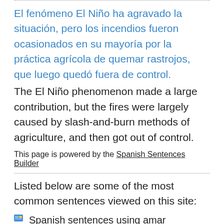El fenómeno El Niño ha agravado la situación, pero los incendios fueron ocasionados en su mayoría por la práctica agrícola de quemar rastrojos, que luego quedó fuera de control.
The El Niño phenomenon made a large contribution, but the fires were largely caused by slash-and-burn methods of agriculture, and then got out of control.
This page is powered by the Spanish Sentences Builder
Listed below are some of the most common sentences viewed on this site:
Spanish sentences using amar